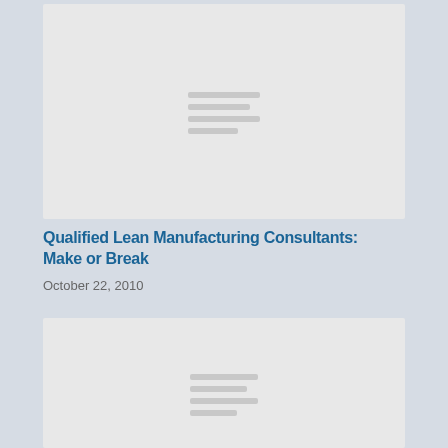[Figure (other): Gray placeholder image card at top of page with horizontal placeholder lines in the center]
Qualified Lean Manufacturing Consultants: Make or Break
October 22, 2010
[Figure (other): Gray placeholder image card at bottom of page with horizontal placeholder lines in the center]